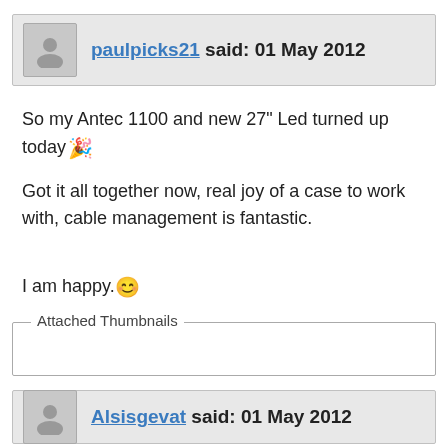paulpicks21 said: 01 May 2012
So my Antec 1100 and new 27" Led turned up today 🎉
Got it all together now, real joy of a case to work with, cable management is fantastic.
I am happy. 😊
Attached Thumbnails
Alsisgevat said: 01 May 2012